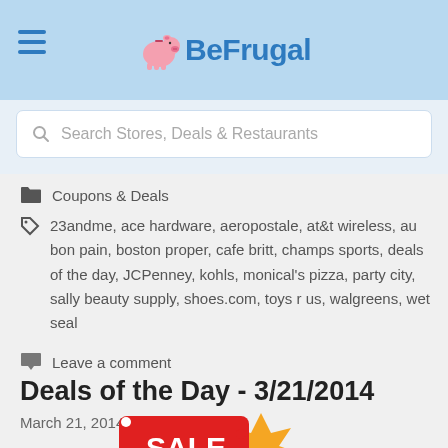BeFrugal
Search Stores, Deals & Restaurants
Coupons & Deals
23andme, ace hardware, aeropostale, at&t wireless, au bon pain, boston proper, cafe britt, champs sports, deals of the day, JCPenney, kohls, monical's pizza, party city, sally beauty supply, shoes.com, toys r us, walgreens, wet seal
Leave a comment
Deals of the Day - 3/21/2014
March 21, 2014 by todd
[Figure (illustration): Sale tag image with red tag showing SALE and orange star burst shape]